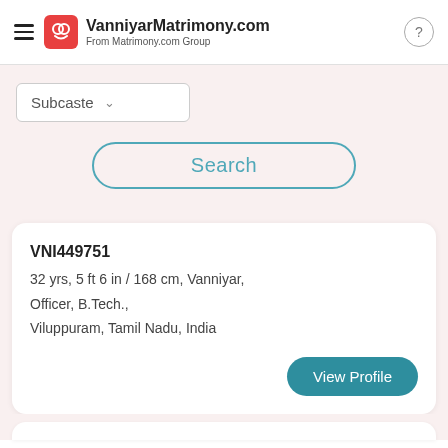VanniyarMatrimony.com — From Matrimony.com Group
Subcaste
Search
VNI449751
32 yrs, 5 ft 6 in / 168 cm, Vanniyar, Officer, B.Tech., Viluppuram, Tamil Nadu, India
View Profile